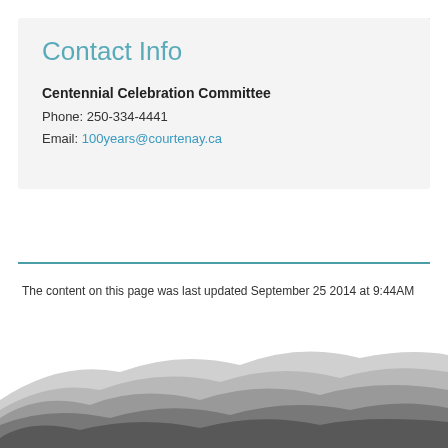Contact Info
Centennial Celebration Committee
Phone: 250-334-4441
Email: 100years@courtenay.ca
The content on this page was last updated September 25 2014 at 9:44AM
[Figure (illustration): Layered mountain silhouette graphic in shades of grey, used as a decorative footer background.]